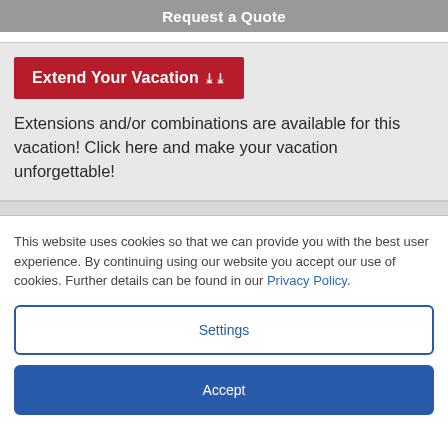Request a Quote
Extend Your Vacation
Extensions and/or combinations are available for this vacation! Click here and make your vacation unforgettable!
This website uses cookies so that we can provide you with the best user experience. By continuing using our website you accept our use of cookies. Further details can be found in our Privacy Policy.
Settings
Accept